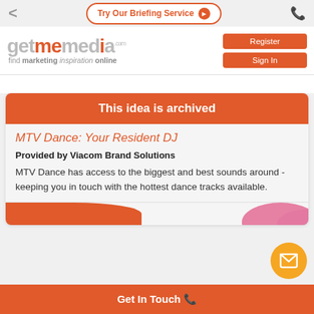Try Our Briefing Service
[Figure (logo): getmemedia.com logo with tagline 'find marketing inspiration online']
Register
Sign In
This idea is archived
MTV Dance: Your Resident DJ
Provided by Viacom Brand Solutions
MTV Dance has access to the biggest and best sounds around - keeping you in touch with the hottest dance tracks available.
Get In Touch